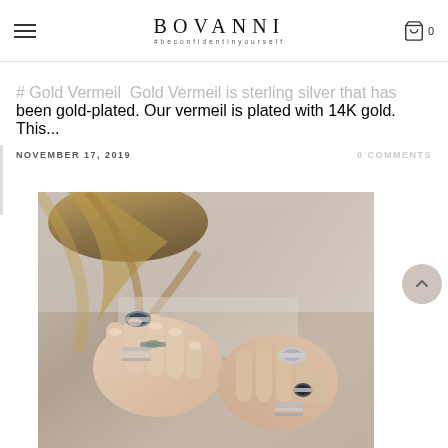BOVANNI #beconfidentinyourself
# Gold Vermeil  Gold Vermeil is sterling silver that has been gold-plated. Our vermeil is plated with 14K gold. This...
NOVEMBER 17, 2019    0 COMMENTS
[Figure (photo): Close-up photo of two hands wearing multiple silver rings with various gemstones including dark blue and grey stones, stacked and layered rings, against a light background.]